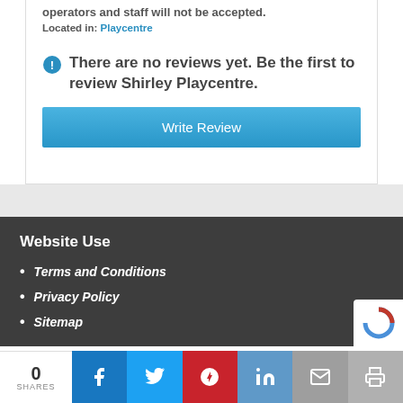operators and staff will not be accepted.
Located in: Playcentre
There are no reviews yet. Be the first to review Shirley Playcentre.
Write Review
Website Use
Terms and Conditions
Privacy Policy
Sitemap
0 SHARES | Facebook | Twitter | Pinterest | LinkedIn | Email | Print